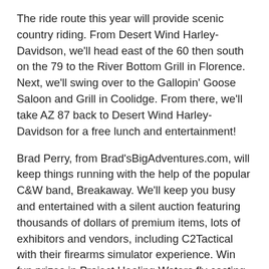The ride route this year will provide scenic country riding. From Desert Wind Harley-Davidson, we'll head east of the 60 then south on the 79 to the River Bottom Grill in Florence. Next, we'll swing over to the Gallopin' Goose Saloon and Grill in Coolidge. From there, we'll take AZ 87 back to Desert Wind Harley-Davidson for a free lunch and entertainment!
Brad Perry, from Brad'sBigAdventures.com, will keep things running with the help of the popular C&W band, Breakaway. We'll keep you busy and entertained with a silent auction featuring thousands of dollars of premium items, lots of exhibitors and vendors, including C2Tactical with their firearms simulator experience. Win fun prizes in Project Healing Waters fly casting competition. Door prizes drawn by Brad all afternoon! And don't miss the glock raffle winner announcement and the Poker Run conclusion. One lucky rider or passenger may qualify to win a brand-new Harley-Davidson!
“I’m an Army Ranger and disabled veteran and was one of the